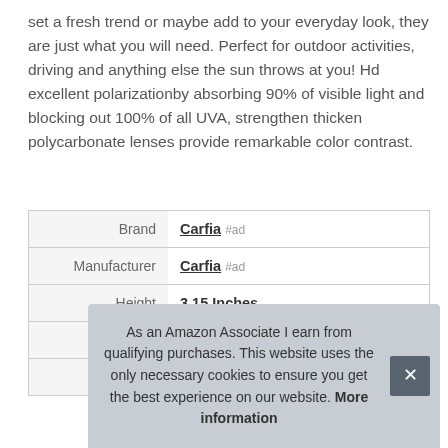set a fresh trend or maybe add to your everyday look, they are just what you will need. Perfect for outdoor activities, driving and anything else the sun throws at you! Hd excellent polarizationby absorbing 90% of visible light and blocking out 100% of all UVA, strengthen thicken polycarbonate lenses provide remarkable color contrast.
|  |  |
| --- | --- |
| Brand | Carfia #ad |
| Manufacturer | Carfia #ad |
| Height | 3.15 Inches |
| Length | 7.09 Inches |
| P |  |
As an Amazon Associate I earn from qualifying purchases. This website uses the only necessary cookies to ensure you get the best experience on our website. More information